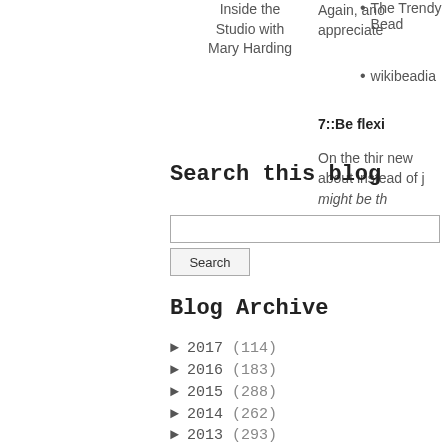Inside the Studio with Mary Harding
The Trendy Bead
wikibeadia
Again, ano appreciate
7::Be flexi
On the thir new about instead of j might be th
Search this blog
Blog Archive
► 2017 (114)
► 2016 (183)
► 2015 (288)
► 2014 (262)
► 2013 (293)
► 2012 (328)
► 2011 (358)